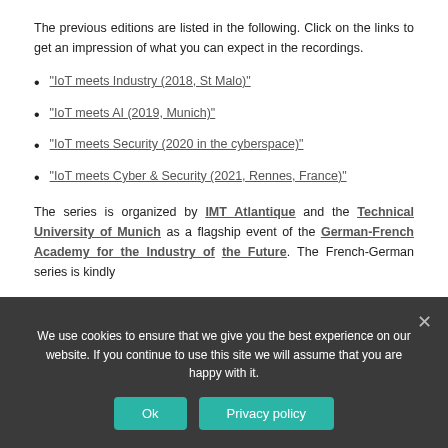The previous editions are listed in the following. Click on the links to get an impression of what you can expect in the recordings.
"IoT meets Industry (2018, St Malo)"
"IoT meets AI (2019, Munich)"
"IoT meets Security (2020 in the cyberspace)"
"IoT meets Cyber & Security (2021, Rennes, France)"
The series is organized by IMT Atlantique and the Technical University of Munich as a flagship event of the German-French Academy for the Industry of the Future. The French-German series is kindly
We use cookies to ensure that we give you the best experience on our website. If you continue to use this site we will assume that you are happy with it.